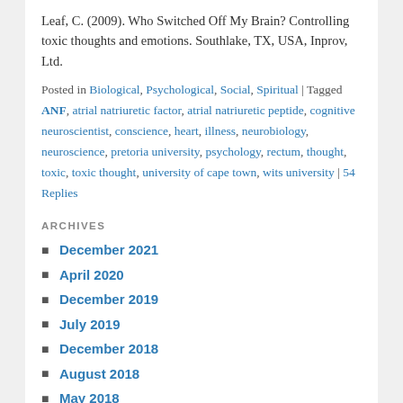Leaf, C. (2009). Who Switched Off My Brain? Controlling toxic thoughts and emotions. Southlake, TX, USA, Inprov, Ltd.
Posted in Biological, Psychological, Social, Spiritual | Tagged ANF, atrial natriuretic factor, atrial natriuretic peptide, cognitive neuroscientist, conscience, heart, illness, neurobiology, neuroscience, pretoria university, psychology, rectum, thought, toxic, toxic thought, university of cape town, wits university | 54 Replies
ARCHIVES
December 2021
April 2020
December 2019
July 2019
December 2018
August 2018
May 2018
April 2018
February 2018